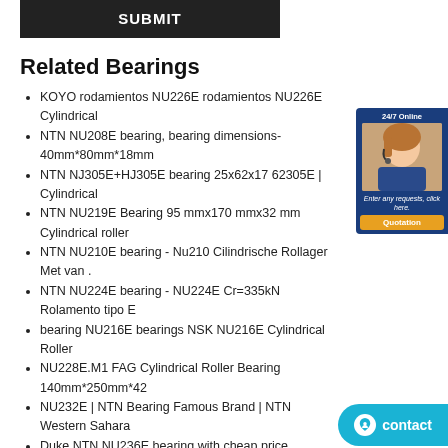Related Bearings
KOYO rodamientos NU226E rodamientos NU226E Cylindrical
NTN NU208E bearing, bearing dimensions-40mm*80mm*18mm
NTN NJ305E+HJ305E bearing 25x62x17 62305E | Cylindrical
NTN NU219E Bearing 95 mmx170 mmx32 mm Cylindrical roller
NTN NU210E bearing - Nu210 Cilindrische Rollager Met van .
NTN NU224E bearing - NU224E Cr=335kN Rolamento tipo E
bearing NU216E bearings NSK NU216E Cylindrical Roller
NU228E.M1 FAG Cylindrical Roller Bearing 140mm*250mm*42
NU232E | NTN Bearing Famous Brand | NTN Western Sahara
Duke NTN NU236E bearing with cheap price
NSK NU209E – Ball Roller Bearings Supplier
NTN NU305E bearing Japan NU305Edimensions
NACHI NJ205E Bearing 25 mmx52 mmx15 mm Cylindrical roller
NACHI NU217E Madagascar - NACHI Bearings 100% Original
NTN NF205E Bearing reliable bearing online bearing information
TOP 10 NTN NU212E Cylindrical Roller Bearings To
FAG rodamientos NU214E rodamientos NU214E C
NTN NUP2305E Roulements | NUP2305E 25x62x24 taille